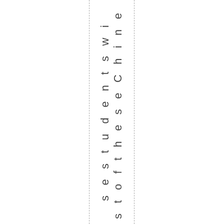s t o f t h e s e C h i n e s e s t u d e n t s w i